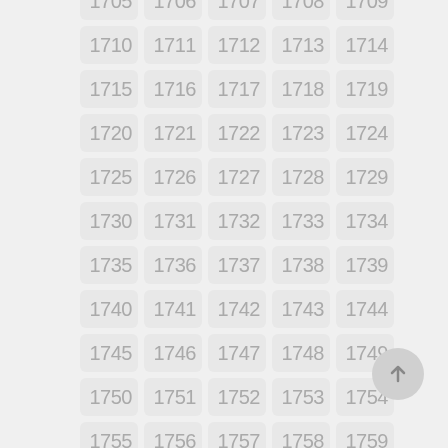[Figure (other): A grid of numbered cells from 1705 to 1759, arranged in 5 columns and 12 rows, each cell with a light gray rounded rectangle background and gray number text. A circular scroll-to-top button with an upward arrow is visible at the bottom right.]